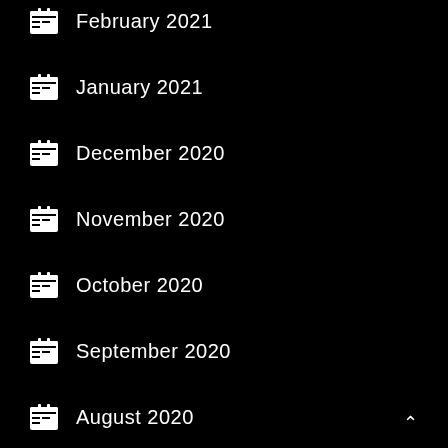February 2021
January 2021
December 2020
November 2020
October 2020
September 2020
August 2020
July 2020
May 2020